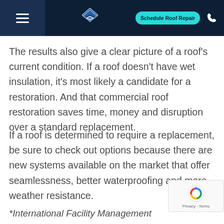Schedule Roof Repair
The results also give a clear picture of a roof’s current condition. If a roof doesn’t have wet insulation, it’s most likely a candidate for a restoration. And that commercial roof restoration saves time, money and disruption over a standard replacement.
If a roof is determined to require a replacement, be sure to check out options because there are new systems available on the market that offer seamlessness, better waterproofing and more weather resistance.
*International Facility Management